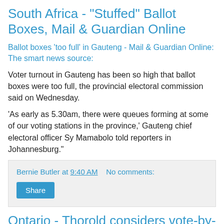South Africa - "Stuffed" Ballot Boxes, Mail & Guardian Online
Ballot boxes 'too full' in Gauteng - Mail & Guardian Online: The smart news source:
Voter turnout in Gauteng has been so high that ballot boxes were too full, the provincial electoral commission said on Wednesday.
'As early as 5.30am, there were queues forming at some of our voting stations in the province,' Gauteng chief electoral officer Sy Mamabolo told reporters in Johannesburg."
Bernie Butler at 9:40 AM   No comments:
Ontario - Thorold considers vote-by-mail for 2018 election: St. Catharines ...